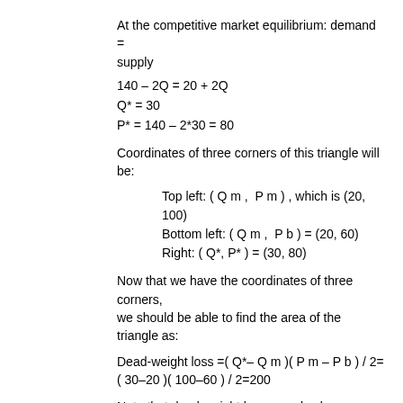At the competitive market equilibrium: demand = supply
Coordinates of three corners of this triangle will be:
Top left: ( Q m ,  P m ) , which is (20, 100)
Bottom left: ( Q m ,  P b ) = (20, 60)
Right: ( Q*, P* ) = (30, 80)
Now that we have the coordinates of three corners, we should be able to find the area of the triangle as:
Note that dead-weight loss can also be calculated by deducting the monopoly market total wealth (CS + PS) from competitive market total wealth.
Your turn!
Practice Exercise